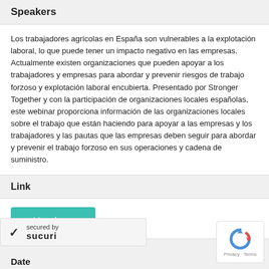Speakers
Los trabajadores agrícolas en España son vulnerables a la explotación laboral, lo que puede tener un impacto negativo en las empresas. Actualmente existen organizaciones que pueden apoyar a los trabajadores y empresas para abordar y prevenir riesgos de trabajo forzoso y explotación laboral encubierta. Presentado por Stronger Together y con la participación de organizaciones locales españolas, este webinar proporciona información de las organizaciones locales sobre el trabajo que están haciendo para apoyar a las empresas y los trabajadores y las pautas que las empresas deben seguir para abordar y prevenir el trabajo forzoso en sus operaciones y cadena de suministro.
Link
Ver ahora
secured by
SUCUri
Date